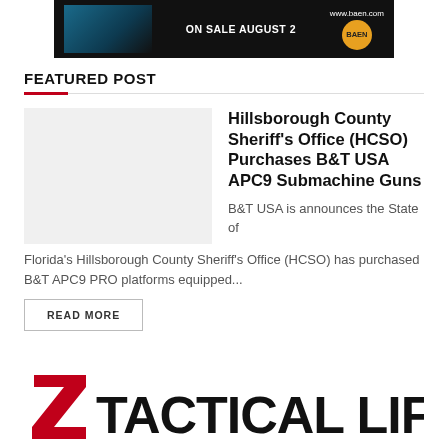[Figure (screenshot): Advertisement banner for Baen Books: dark background with book cover image on left, text 'ON SALE AUGUST 2' in center, 'www.baen.com' and Baen logo on right]
FEATURED POST
[Figure (photo): Placeholder thumbnail image for featured post about Hillsborough County Sheriff's Office B&T USA APC9 purchase]
Hillsborough County Sheriff's Office (HCSO) Purchases B&T USA APC9 Submachine Guns
B&T USA is announces the State of Florida's Hillsborough County Sheriff's Office (HCSO) has purchased B&T APC9 PRO platforms equipped...
READ MORE
[Figure (logo): Tactical Life logo: red stylized Z icon on left followed by bold black text 'TACTICAL LIFE']